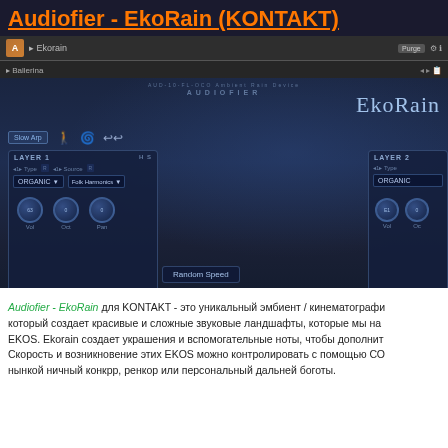Audiofier - EkoRain (KONTAKT)
[Figure (screenshot): Screenshot of the EkoRain plugin interface in Native Instruments Kontakt, showing Layer 1 with ORGANIC type and Folk Harmonics source, Layer 2, Pad Layer with Waving source, EKOS Engine with Melodic Random behaviour, Decay panel, and Convolution panel with Rvb_HALL type. The interface has a dark blue rain-themed background with the EkoRain title visible.]
Audiofier - EkoRain для KONTAKT - это уникальный эмбиент / кинематографи- который создает красивые и сложные звуковые ландшафты, которые мы на- EKOS. Ekorain создает украшения и вспомогательные ноты, чтобы дополнит- Скорость и возникновение этих EKOS можно контролировать с помощью СО- нынкой ничный конкрр, ренкор или персональный дальней боготы.